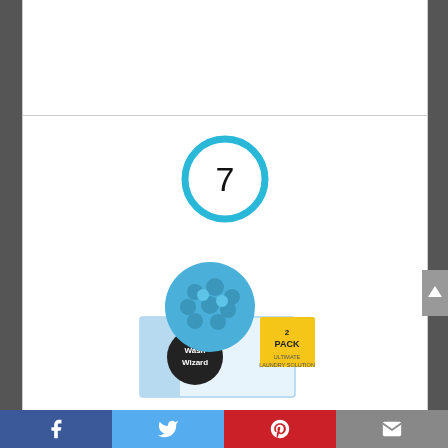[Figure (other): Number 7 inside a blue circle ring badge]
[Figure (photo): Wash Wizard laundry ball product photo showing blue textured ball sitting on top of product box labeled '2 Pack - Ultimate Laundry Solution']
Wash Wizard – Laundry Ball (2-Pack) – Top Rated Washer Ball – Reusable – Detergent Alternative & Replacement